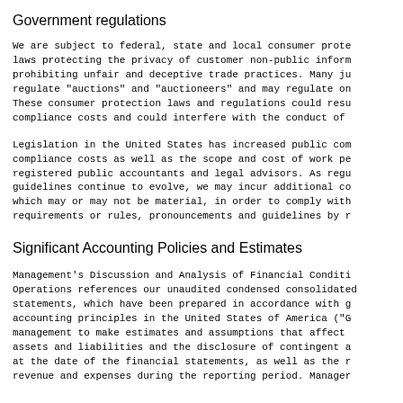Government regulations
We are subject to federal, state and local consumer prote laws protecting the privacy of customer non-public infor prohibiting unfair and deceptive trade practices. Many ju regulate "auctions" and "auctioneers" and may regulate o These consumer protection laws and regulations could res compliance costs and could interfere with the conduct of
Legislation in the United States has increased public co compliance costs as well as the scope and cost of work p registered public accountants and legal advisors. As reg guidelines continue to evolve, we may incur additional c which may or may not be material, in order to comply wit requirements or rules, pronouncements and guidelines by
Significant Accounting Policies and Estimates
Management's Discussion and Analysis of Financial Condi Operations references our unaudited condensed consolidate statements, which have been prepared in accordance with accounting principles in the United States of America ("G management to make estimates and assumptions that affect assets and liabilities and the disclosure of contingent at the date of the financial statements, as well as the revenue and expenses during the reporting period. Manage